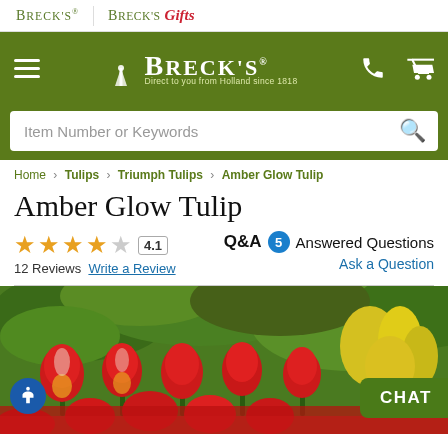Breck's | Breck's Gifts
[Figure (logo): Breck's green header with windmill logo, menu icon, phone icon, and cart icon]
Item Number or Keywords
Home › Tulips › Triumph Tulips › Amber Glow Tulip
Amber Glow Tulip
★★★★☆ 4.1 | 12 Reviews | Write a Review | Q&A 5 Answered Questions | Ask a Question
[Figure (photo): Photo of Amber Glow Tulips — red and yellow tulips blooming in a garden with green foliage in the background. A CHAT button appears at the right edge and an accessibility icon at the lower left.]